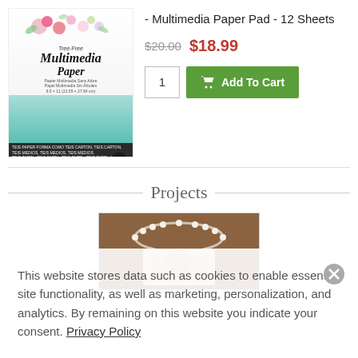[Figure (photo): Product packaging for Tree-Free Multimedia Paper Pad]
- Multimedia Paper Pad - 12 Sheets
$20.00  $18.99
Add To Cart (quantity: 1)
Projects
[Figure (photo): Project photo showing pearl necklace and craft items]
This website stores data such as cookies to enable essential site functionality, as well as marketing, personalization, and analytics. By remaining on this website you indicate your consent. Privacy Policy